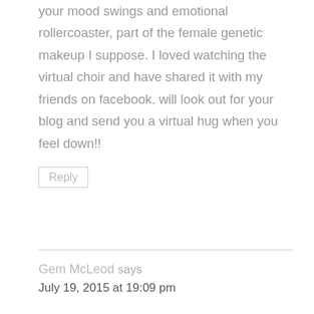your mood swings and emotional rollercoaster, part of the female genetic makeup I suppose. I loved watching the virtual choir and have shared it with my friends on facebook. will look out for your blog and send you a virtual hug when you feel down!!
Reply
Gem McLeod says
July 19, 2015 at 19:09 pm